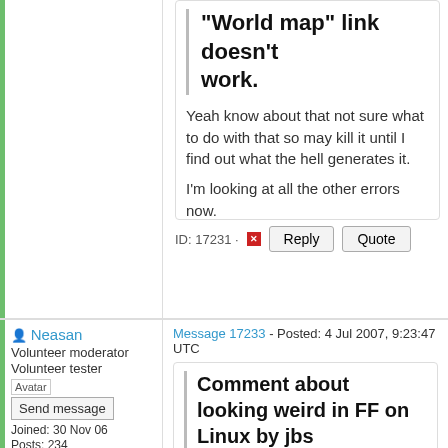"World map" link doesn't work.
Yeah know about that not sure what to do with that so may kill it until I find out what the hell generates it.
I'm looking at all the other errors now.
ID: 17231
Neasan
Volunteer moderator
Volunteer tester
Send message
Joined: 30 Nov 06
Posts: 234
Message 17233 - Posted: 4 Jul 2007, 9:23:47 UTC
Comment about looking weird in FF on Linux by jbs